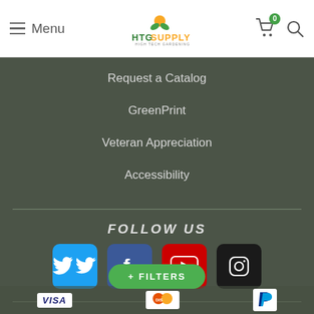Menu | HTG Supply | Cart 0 | Search
Request a Catalog
GreenPrint
Veteran Appreciation
Accessibility
FOLLOW US
[Figure (infographic): Four social media icon buttons: Twitter (blue), Facebook (dark blue), YouTube (red), Instagram (black)]
+ FILTERS
[Figure (infographic): Payment method logos: VISA, Discover, PayPal]